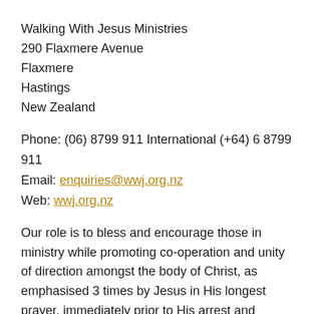Walking With Jesus Ministries
290 Flaxmere Avenue
Flaxmere
Hastings
New Zealand
Phone: (06) 8799 911 International (+64) 6 8799 911
Email: enquiries@wwj.org.nz
Web: wwj.org.nz
Our role is to bless and encourage those in ministry while promoting co-operation and unity of direction amongst the body of Christ, as emphasised 3 times by Jesus in His longest prayer, immediately prior to His arrest and crucifixion. "... so that they may be one as we are one." (John 17:12, 21, 23-4) Our website is currently being developed to encourage your participation one with another, to share resources, and to enable you to promote